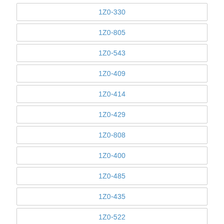1Z0-330
1Z0-805
1Z0-543
1Z0-409
1Z0-414
1Z0-429
1Z0-808
1Z0-400
1Z0-485
1Z0-435
1Z0-522